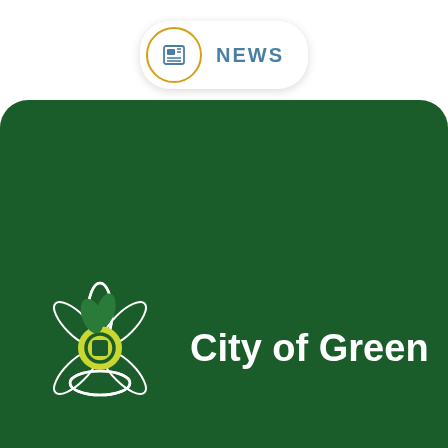[Figure (screenshot): NEWS pill button with orange-bordered circle icon containing a newspaper/grid icon and 'NEWS' text in blue]
[Figure (logo): City of Green logo on dark green background: white cross/leaf ornamental symbol with yellow-green circular center, and 'City of Green' in white bold text]